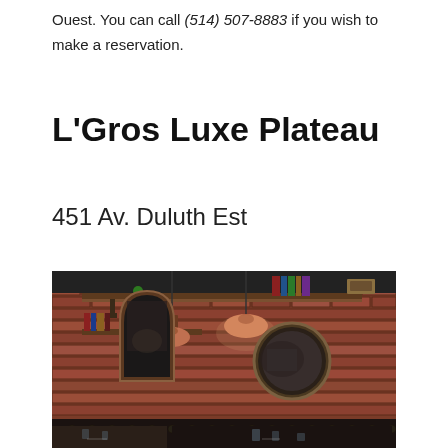Ouest. You can call (514) 507-8883 if you wish to make a reservation.
L'Gros Luxe Plateau
451 Av. Duluth Est
[Figure (photo): Interior of L'Gros Luxe Plateau restaurant showing brick walls with round mirrors, pendant lights with orange shades, wooden shelves with books and objects, dark tufted leather booth seating, and tables set with glasses.]